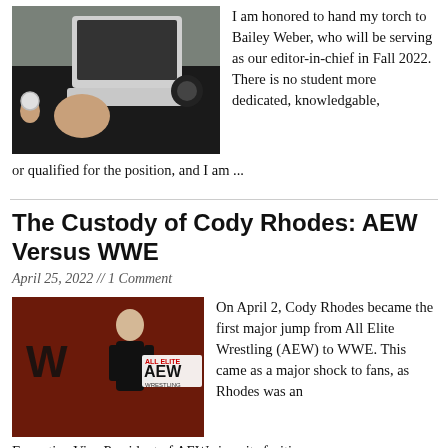[Figure (photo): Overhead view of a person resting head on desk near a laptop, holding a coffee cup, with headphones on the desk]
I am honored to hand my torch to Bailey Weber, who will be serving as our editor-in-chief in Fall 2022. There is no student more dedicated, knowledgable, or qualified for the position, and I am ...
The Custody of Cody Rhodes: AEW Versus WWE
April 25, 2022 // 1 Comment
[Figure (photo): Photo of Cody Rhodes standing in front of WWE and AEW logos on a dark red background]
On April 2, Cody Rhodes became the first major jump from All Elite Wrestling (AEW) to WWE. This came as a major shock to fans, as Rhodes was an Executive Vice President of AEW since its fruition. ...